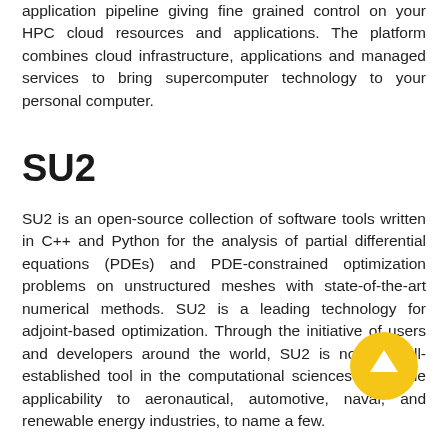application pipeline giving fine grained control on your HPC cloud resources and applications. The platform combines cloud infrastructure, applications and managed services to bring supercomputer technology to your personal computer.
SU2
SU2 is an open-source collection of software tools written in C++ and Python for the analysis of partial differential equations (PDEs) and PDE-constrained optimization problems on unstructured meshes with state-of-the-art numerical methods. SU2 is a leading technology for adjoint-based optimization. Through the initiative of users and developers around the world, SU2 is now a well-established tool in the computational sciences with wide applicability to aeronautical, automotive, naval, and renewable energy industries, to name a few.